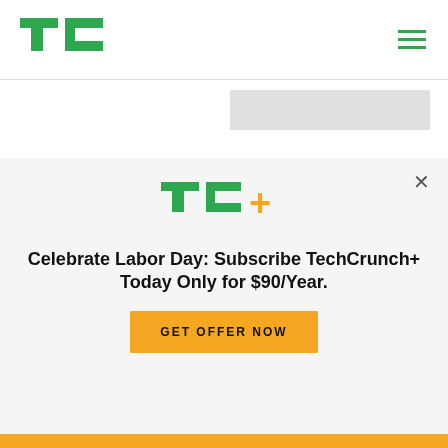[Figure (logo): TechCrunch TC green logo]
[Figure (illustration): Hamburger menu icon (three horizontal green lines)]
[Figure (other): Gray advertisement placeholder box]
UK closely probing four tech firms over kids’ privacy code breaches
[Figure (photo): Person using a tablet device, pressing screen with finger]
Natasha Lomas
12:30 PM UTC • September 2, 2022
[Figure (logo): TC+ TechCrunch Plus logo in green and yellow]
Celebrate Labor Day: Subscribe TechCrunch+ Today Only for $90/Year.
GET OFFER NOW